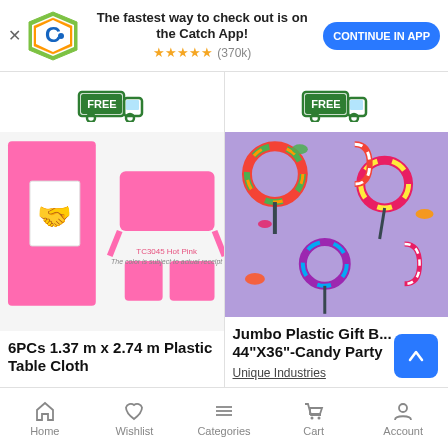[Figure (screenshot): Catch app promotional banner with logo, star rating (370k reviews), and Continue in App button]
[Figure (infographic): Two FREE delivery truck badges, one per product column]
[Figure (photo): Pink plastic tablecloth product image showing folded cloth and layout diagram with label TC3045 Hot Pink and note The color is subject to actual receipt]
6PCs 1.37 m x 2.74 m Plastic Table Cloth
[Figure (photo): Jumbo plastic gift bag with colorful candy/lollipop pattern on purple/lavender background]
Jumbo Plastic Gift B... 44"X36"-Candy Party
Unique Industries
Home  Wishlist  Categories  Cart  Account